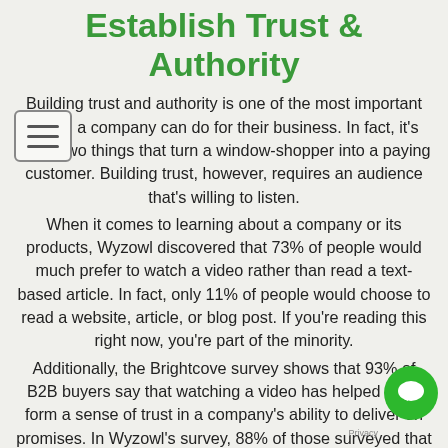Establish Trust & Authority
Building trust and authority is one of the most important things a company can do for their business. In fact, it's these two things that turn a window-shopper into a paying customer. Building trust, however, requires an audience that's willing to listen.
When it comes to learning about a company or its products, Wyzowl discovered that 73% of people would much prefer to watch a video rather than read a text-based article. In fact, only 11% of people would choose to read a website, article, or blog post. If you're reading this right now, you're part of the minority.
Additionally, the Brightcove survey shows that 93% of B2B buyers say that watching a video has helped them form a sense of trust in a company's ability to deliver on promises. In Wyzowl's survey, 88% of those surveyed that they were convinced to buy a product or service after